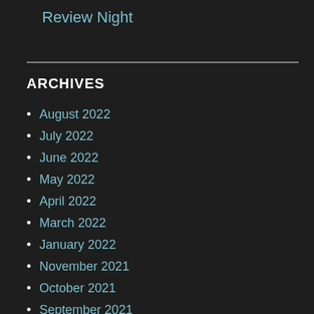Review Night
ARCHIVES
August 2022
July 2022
June 2022
May 2022
April 2022
March 2022
January 2022
November 2021
October 2021
September 2021